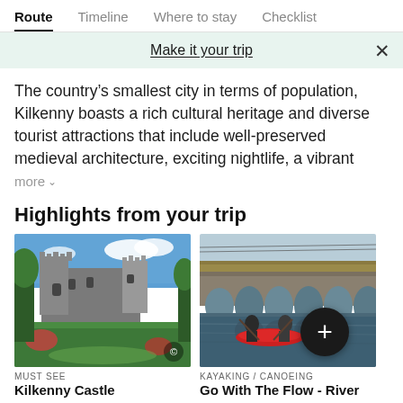Route | Timeline | Where to stay | Checklist
Make it your trip
The country's smallest city in terms of population, Kilkenny boasts a rich cultural heritage and diverse tourist attractions that include well-preserved medieval architecture, exciting nightlife, a vibrant
more
Highlights from your trip
[Figure (photo): Photo of Kilkenny Castle with green gardens and blue sky]
MUST SEE
Kilkenny Castle
[Figure (photo): Photo of people kayaking/canoeing under a stone arch bridge]
KAYAKING / CANOEING
Go With The Flow - River